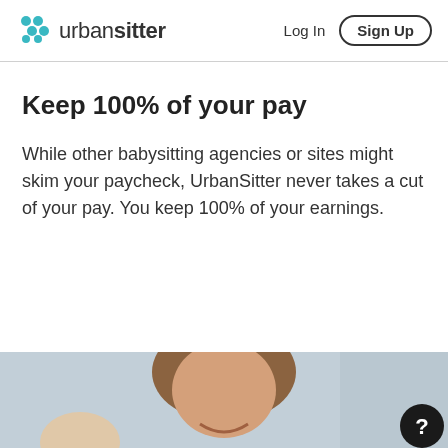urban sitter | Log In | Sign Up
Keep 100% of your pay
While other babysitting agencies or sites might skim your paycheck, UrbanSitter never takes a cut of your pay. You keep 100% of your earnings.
[Figure (photo): Photo of a smiling woman with a child, partially visible at the bottom of the page. There is a circular dark help/chat button with a question mark in the bottom right corner.]